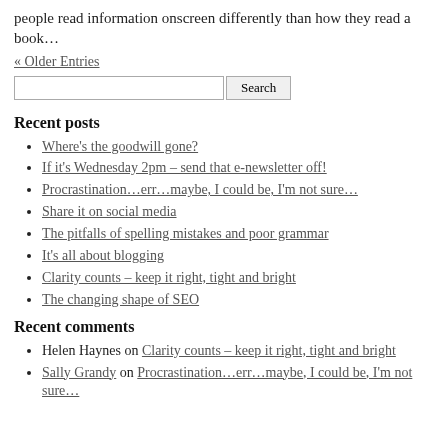people read information onscreen differently than how they read a book…
« Older Entries
Search
Recent posts
Where's the goodwill gone?
If it's Wednesday 2pm – send that e-newsletter off!
Procrastination…err…maybe, I could be, I'm not sure…
Share it on social media
The pitfalls of spelling mistakes and poor grammar
It's all about blogging
Clarity counts – keep it right, tight and bright
The changing shape of SEO
Recent comments
Helen Haynes on Clarity counts – keep it right, tight and bright
Sally Grandy on Procrastination…err…maybe, I could be, I'm not sure…